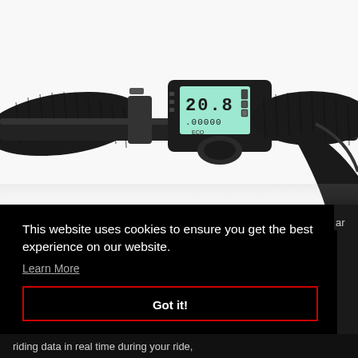[Figure (photo): Close-up photo of an electric scooter handlebar with a black LCD display unit mounted in the center showing speed reading of 20.8 and odometer 00000, with battery indicator. Black rubber grips on left and right, and a stem visible on the right side.]
This website uses cookies to ensure you get the best experience on our website.
Learn More
Got it!
riding data in real time during your ride,